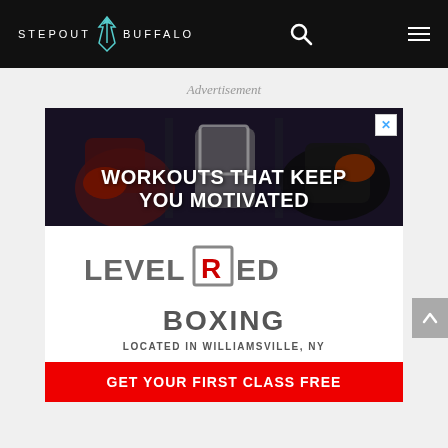STEPOUT BUFFALO
Advertisement
[Figure (photo): Boxing workout photo with text overlay: WORKOUTS THAT KEEP YOU MOTIVATED]
[Figure (logo): Level Red Boxing logo with text: LEVEL RED BOXING, LOCATED IN WILLIAMSVILLE, NY, GET YOUR FIRST CLASS FREE button]